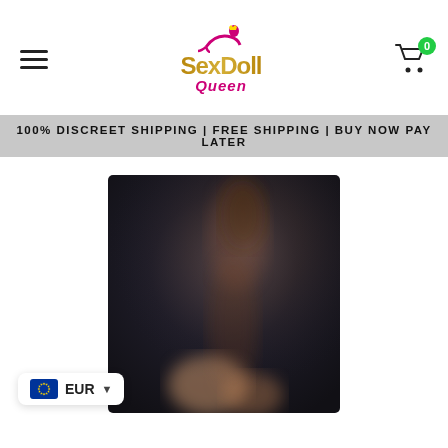SexDoll Queen — 100% DISCREET SHIPPING | FREE SHIPPING | BUY NOW PAY LATER
[Figure (logo): SexDoll Queen logo with pink silhouette figure and gold script text]
100% DISCREET SHIPPING | FREE SHIPPING | BUY NOW PAY LATER
[Figure (photo): Blurred product photo of a female figure in a dark background]
EUR ▾